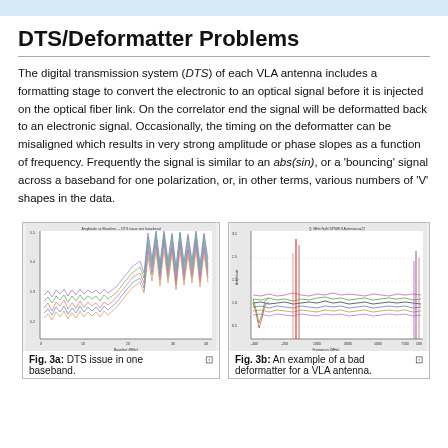DTS/Deformatter Problems
The digital transmission system (DTS) of each VLA antenna includes a formatting stage to convert the electronic to an optical signal before it is injected on the optical fiber link. On the correlator end the signal will be deformatted back to an electronic signal. Occasionally, the timing on the deformatter can be misaligned which results in very strong amplitude or phase slopes as a function of frequency. Frequently the signal is similar to an abs(sin), or a 'bouncing' signal across a baseband for one polarization, or, in other terms, various numbers of 'V' shapes in the data.
[Figure (continuous-plot): Fig. 3a: DTS issue in one baseband — a scatter/line plot showing amplitude vs baseline with multiple colored data series showing elevated noise/signal in one region.]
Fig. 3a: DTS issue in one baseband.
[Figure (continuous-plot): Fig. 3b: An example of a bad deformatter for VLA antenna ea22 — amplitude vs frequency (MHz) plot with multiple colored data series showing a spike and irregular behavior.]
Fig. 3b: An example of a bad deformatter for a VLA antenna.